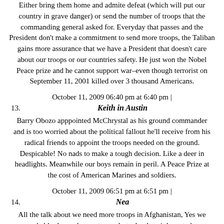Either bring them home and admite defeat (which will put our country in grave danger) or send the number of troops that the commanding general asked for. Everyday that passes and the President don't make a commitment to send more troops, the Taliban gains more assurance that we have a President that doesn't care about our troops or our countries safety. He just won the Nobel Peace prize and he cannot support war–even though terrorist on September 11, 2001 killed over 3 thousand Americans.
October 11, 2009 06:40 pm at 6:40 pm |
13.   Keith in Austin
Barry Obozo apppointed McChrystal as his ground commander and is too worried about the political fallout he'll receive from his radical friends to appoint the troops needed on the ground. Despicable! No nads to make a tough decision. Like a deer in headlights. Meanwhile our boys remain in peril. A Peace Prize at the cost of American Marines and soldiers.
October 11, 2009 06:51 pm at 6:51 pm |
14.   Nea
All the talk about we need more troops in Afghanistan, Yes we probably do need more troops but why does it have to be